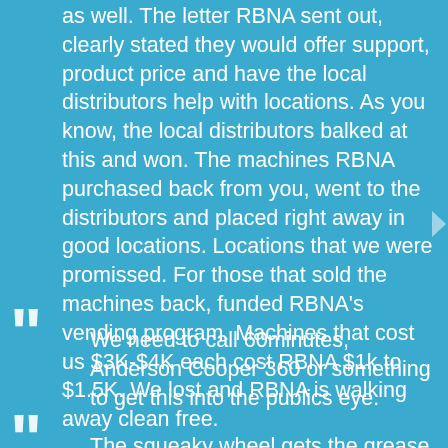as well. The letter RBNA sent out, clearly stated they would offer support, product price and have the local distributors help with locations. As you know, the local distributors balked at this and won. The machines RBNA purchased back from you, went to the distributors and placed right away in good locations. Locations that we were promissed. For those that sold the machines back, funded RBNA's vending program. Machines that cost us $3K-$4K each cost RBNA $1k to $1.5K. We lost and RBNA is walking away clean free.
We need to call 60minutes, Anderson Cooper 360 or something to get this into the publics eye.
The squeaky wheel gets the grease